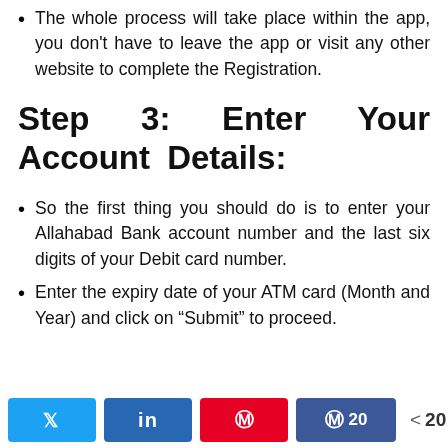The whole process will take place within the app, you don't have to leave the app or visit any other website to complete the Registration.
Step 3: Enter Your Account Details:
So the first thing you should do is to enter your Allahabad Bank account number and the last six digits of your Debit card number.
Enter the expiry date of your ATM card (Month and Year) and click on “Submit” to proceed.
Twitter  in  Pinterest  Facebook 20  < 20 SHARES  ^